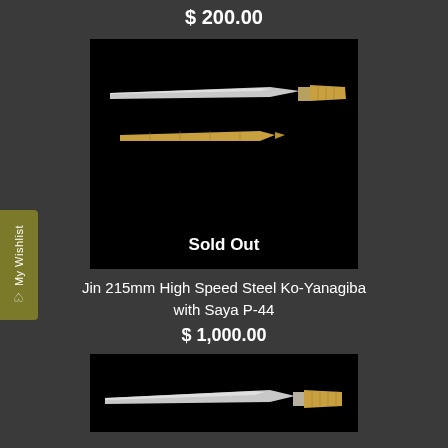$ 200.00
[Figure (photo): Japanese Ko-Yanagiba knife with wooden handle shown above its wooden saya (sheath) on black background, with 'Sold Out' label]
Jin 215mm High Speed Steel Ko-Yanagiba with Saya P-44
$ 1,000.00
[Figure (photo): Japanese knife with wooden handle on black background, partially visible at bottom of page]